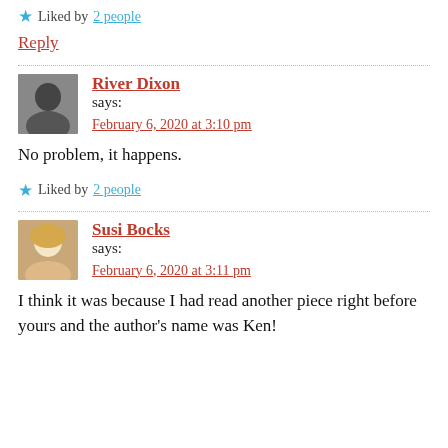Liked by 2 people
Reply
River Dixon says: February 6, 2020 at 3:10 pm
No problem, it happens.
Liked by 2 people
Susi Bocks says: February 6, 2020 at 3:11 pm
I think it was because I had read another piece right before yours and the author's name was Ken!